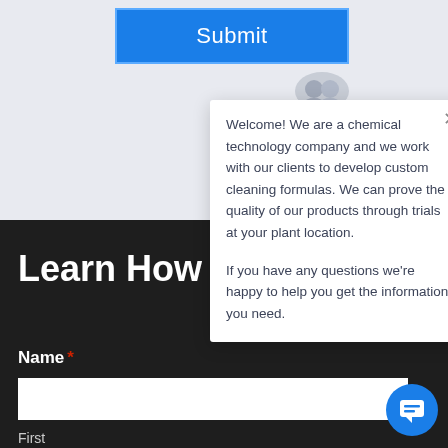[Figure (screenshot): Submit button with blue background and white border]
[Figure (screenshot): Chat popup overlay showing welcome message from chemical technology company with close button and avatar icon]
Learn How
Name *
First